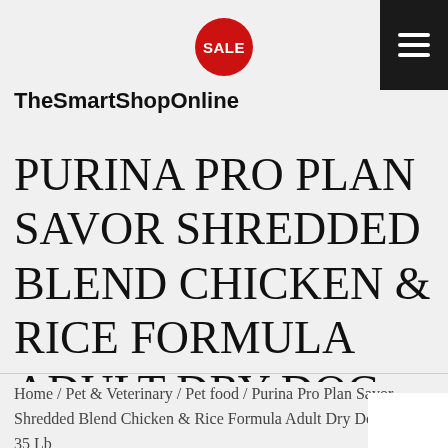[Figure (logo): TheSmartShopOnline logo with red SALE badge circle above the text]
PURINA PRO PLAN SAVOR SHREDDED BLEND CHICKEN & RICE FORMULA ADULT DRY DOG FOOD, 35 LB
Home / Pet & Veterinary / Pet food / Purina Pro Plan Savor Shredded Blend Chicken & Rice Formula Adult Dry Dog Food, 35 Lb